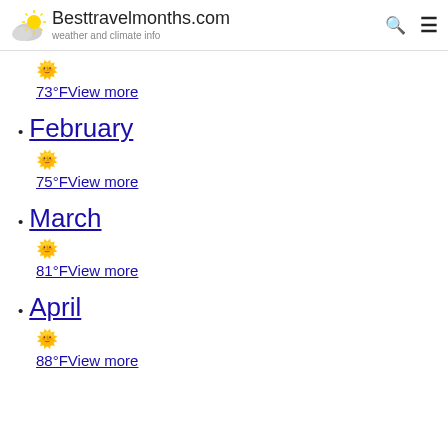Besttravelmonths.com weather and climate info
73°F View more
February
75°F View more
March
81°F View more
April
88°F View more